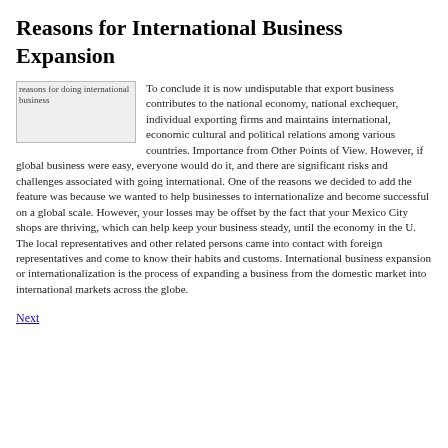Reasons for International Business Expansion
[Figure (photo): Image of reasons for doing international business]
To conclude it is now undisputable that export business contributes to the national economy, national exchequer, individual exporting firms and maintains international, economic cultural and political relations among various countries. Importance from Other Points of View. However, if global business were easy, everyone would do it, and there are significant risks and challenges associated with going international. One of the reasons we decided to add the feature was because we wanted to help businesses to internationalize and become successful on a global scale. However, your losses may be offset by the fact that your Mexico City shops are thriving, which can help keep your business steady, until the economy in the U. The local representatives and other related persons came into contact with foreign representatives and come to know their habits and customs. International business expansion or internationalization is the process of expanding a business from the domestic market into international markets across the globe.
Next